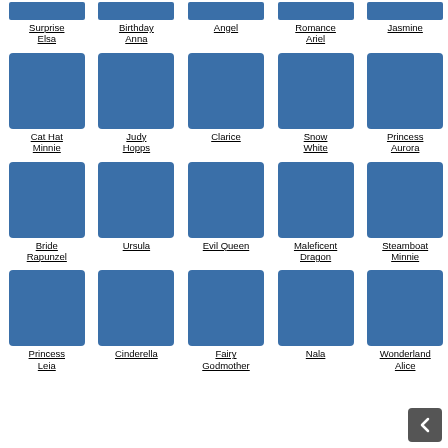Surprise Elsa
Birthday Anna
Angel
Romance Ariel
Jasmine
Cat Hat Minnie
Judy Hopps
Clarice
Snow White
Princess Aurora
Bride Rapunzel
Ursula
Evil Queen
Maleficent Dragon
Steamboat Minnie
Princess Leia
Cinderella
Fairy Godmother
Nala
Wonderland Alice